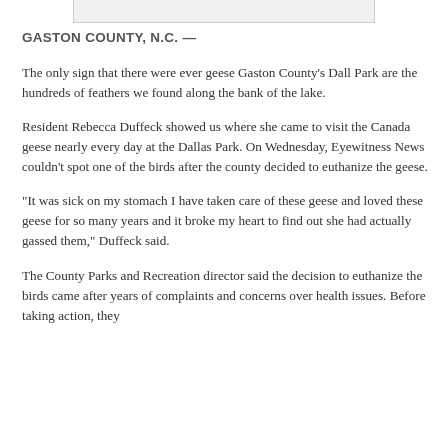[Figure (photo): Partial image visible at the top of the page, appears to be a cropped photograph (only the bottom edge is visible)]
GASTON COUNTY, N.C. —
The only sign that there were ever geese Gaston County's Dall Park are the hundreds of feathers we found along the bank of the lake.
Resident Rebecca Duffeck showed us where she came to visit the Canada geese nearly every day at the Dallas Park. On Wednesday, Eyewitness News couldn't spot one of the birds after the county decided to euthanize the geese.
"It was sick on my stomach I have taken care of these geese and loved these geese for so many years and it broke my heart to find out she had actually gassed them," Duffeck said.
The County Parks and Recreation director said the decision to euthanize the birds came after years of complaints and concerns over health issues. Before taking action, they